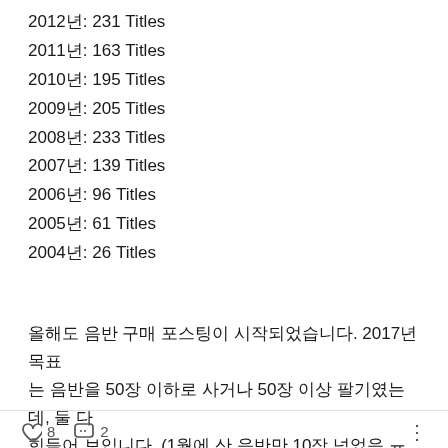2012년: 231 Titles
2011년: 163 Titles
2010년: 195 Titles
2009년: 205 Titles
2008년: 233 Titles
2007년: 139 Titles
2006년: 96 Titles
2005년: 61 Titles
2004년: 26 Titles
올해도 음반 구매 포스팅이 시작되었습니다. 2017년 목표는 음반을 50장 이하로 사거나 50장 이상 팔기였는데, 둘 다 힘들어 보입니다. (1월에 산 음반만 10장 넘었음 ㅠㅠ)
♡ 8   💬 2